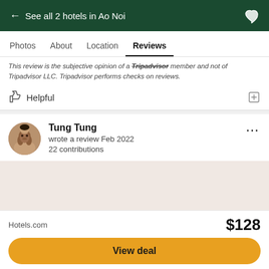← See all 2 hotels in Ao Noi
Photos  About  Location  Reviews
This review is the subjective opinion of a Tripadvisor member and not of Tripadvisor LLC. Tripadvisor performs checks on reviews.
Helpful
Tung Tung
wrote a review Feb 2022
22 contributions
[Figure (photo): Profile photo of reviewer Tung Tung showing a person with a dog]
Hotels.com  $128
View deal